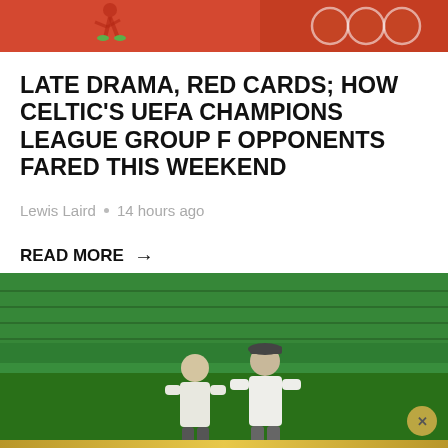[Figure (photo): Top banner image showing a sports scene with orange/red background and circular logo dots on the right side]
LATE DRAMA, RED CARDS; HOW CELTIC'S UEFA CHAMPIONS LEAGUE GROUP F OPPONENTS FARED THIS WEEKEND
Lewis Laird • 14 hours ago
READ MORE →
[Figure (photo): Photo of two men in white t-shirts standing on a football pitch with green stadium seating in the background]